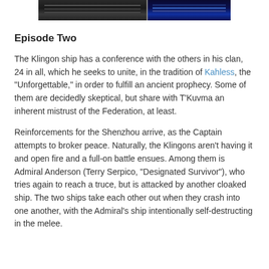[Figure (photo): Two side-by-side dark scene screenshots from a TV show or film. Left side shows a dark figure against a dark background with faint horizontal lines. Right side shows a blue-lit screen or display with waveform/graph elements.]
Episode Two
The Klingon ship has a conference with the others in his clan, 24 in all, which he seeks to unite, in the tradition of Kahless, the “Unforgettable,” in order to fulfill an ancient prophecy. Some of them are decidedly skeptical, but share with T’Kuvma an inherent mistrust of the Federation, at least.
Reinforcements for the Shenzhou arrive, as the Captain attempts to broker peace. Naturally, the Klingons aren’t having it and open fire and a full-on battle ensues. Among them is Admiral Anderson (Terry Serpico, “Designated Survivor”), who tries again to reach a truce, but is attacked by another cloaked ship. The two ships take each other out when they crash into one another, with the Admiral’s ship intentionally self-destructing in the melee.